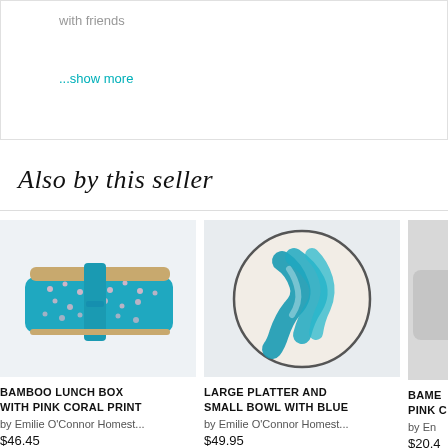with friends
...show more
Also by this seller
[Figure (photo): Bamboo lunch box with blue background and pink coral/floral print, with teal closure strap, photographed on white background]
BAMBOO LUNCH BOX WITH PINK CORAL PRINT
by Emilie O'Connor Homest...
$46.45
[Figure (photo): Large round ceramic platter with blue brushstroke pattern on cream/white background, photographed on light background]
LARGE PLATTER AND SMALL BOWL WITH BLUE
by Emilie O'Connor Homest...
$49.95
[Figure (photo): Partial view of a third product — bamboo item with pink design, partially cropped on right edge]
BAME... PINK C...
by En...
$20.4...